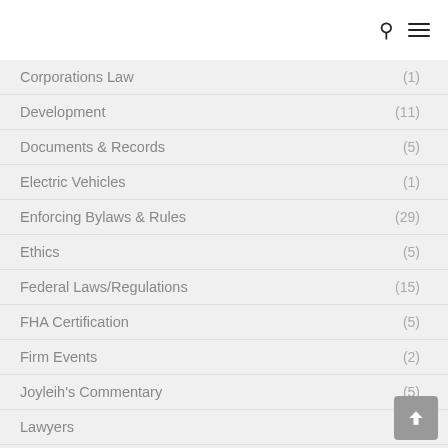Corporations Law (1)
Development (11)
Documents & Records (5)
Electric Vehicles (1)
Enforcing Bylaws & Rules (29)
Ethics (5)
Federal Laws/Regulations (15)
FHA Certification (5)
Firm Events (2)
Joyleih's Commentary (5)
Lawyers (9)
Management (8)